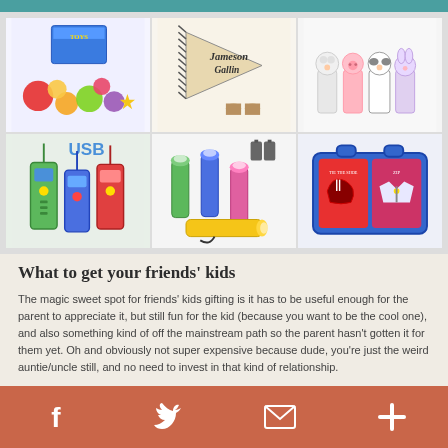[Figure (photo): Collage of children's gift items: colorful toy balls/sensory toys, personalized pennant banner, farm animal finger puppets, USB walkie talkies, LED flashlights, and a zip-up activity board book]
What to get your friends' kids
The magic sweet spot for friends' kids gifting is it has to be useful enough for the parent to appreciate it, but still fun for the kid (because you want to be the cool one), and also something kind of off the mainstream path so the parent hasn't gotten it for them yet. Oh and obviously not super expensive because dude, you're just the weird auntie/uncle still, and no need to invest in that kind of relationship.
Read More >>